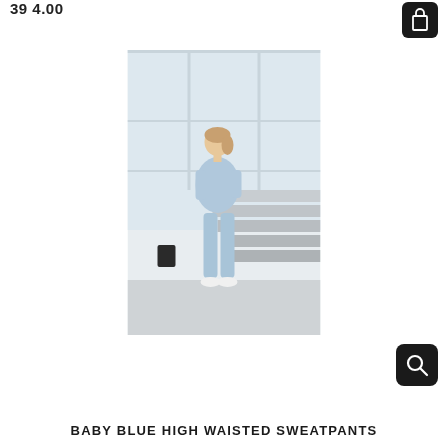39 4.00
[Figure (photo): A woman wearing baby blue high waisted sweatpants and matching blue sweatshirt, sitting on stadium-style steps near large windows, wearing white sneakers.]
BABY BLUE HIGH WAISTED SWEATPANTS